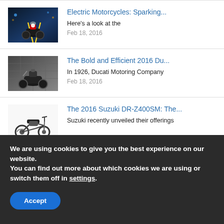[Figure (photo): Photo of motorcycle on a night road with city lights]
Electric Motorcycles: Sparking...
Here's a look at the
Feb 18, 2016
[Figure (photo): Photo of a dark Ducati motorcycle in an urban setting]
The Bold and Efficient 2016 Du...
In 1926, Ducati Motoring Company
Feb 18, 2016
[Figure (photo): Photo of a Suzuki DR-Z400SM motorcycle on white background]
The 2016 Suzuki DR-Z400SM: The...
Suzuki recently unveiled their offerings
We are using cookies to give you the best experience on our website.
You can find out more about which cookies we are using or switch them off in settings.
Accept